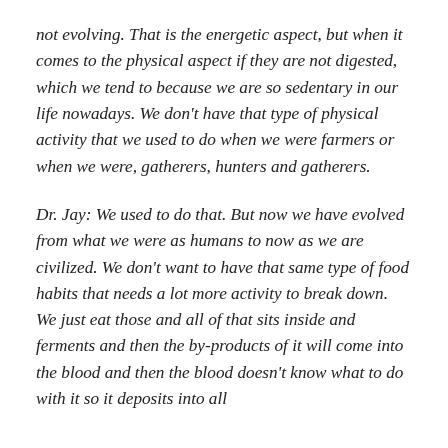not evolving. That is the energetic aspect, but when it comes to the physical aspect if they are not digested, which we tend to because we are so sedentary in our life nowadays. We don't have that type of physical activity that we used to do when we were farmers or when we were, gatherers, hunters and gatherers.
Dr. Jay: We used to do that. But now we have evolved from what we were as humans to now as we are civilized. We don't want to have that same type of food habits that needs a lot more activity to break down. We just eat those and all of that sits inside and ferments and then the by-products of it will come into the blood and then the blood doesn't know what to do with it so it deposits into all